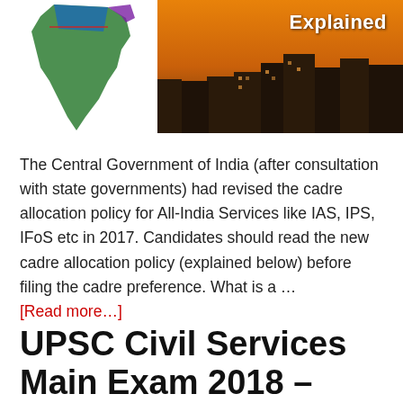[Figure (photo): Banner image with a colorful map of India on the left showing Indian states in green, blue, purple and red, overlaid on a cityscape/skyline photo at dusk with an orange sky. The word 'Explained' appears in white bold text on the right side.]
The Central Government of India (after consultation with state governments) had revised the cadre allocation policy for All-India Services like IAS, IPS, IFoS etc in 2017. Candidates should read the new cadre allocation policy (explained below) before filing the cadre preference. What is a … [Read more…]
UPSC Civil Services Main Exam 2018 –